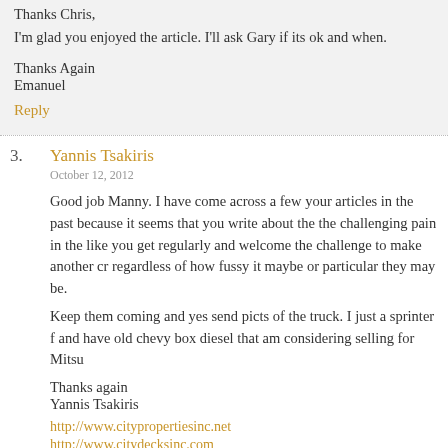Thanks Chris,
I'm glad you enjoyed the article. I'll ask Gary if its ok and when.
Thanks Again
Emanuel
Reply
3. Yannis Tsakiris
October 12, 2012
Good job Manny. I have come across a few your articles in the past because it seems that you write about the the challenging pain in the like you get regularly and welcome the challenge to make another cr regardless of how fussy it maybe or particular they may be.
Keep them coming and yes send picts of the truck. I just a sprinter f and have old chevy box diesel that am considering selling for Mitsu
Thanks again
Yannis Tsakiris
http://www.citypropertiesinc.net
http://www.citydecksinc.com